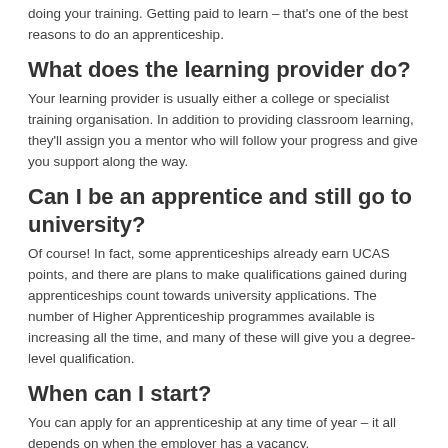doing your training. Getting paid to learn – that's one of the best reasons to do an apprenticeship.
What does the learning provider do?
Your learning provider is usually either a college or specialist training organisation. In addition to providing classroom learning, they'll assign you a mentor who will follow your progress and give you support along the way.
Can I be an apprentice and still go to university?
Of course! In fact, some apprenticeships already earn UCAS points, and there are plans to make qualifications gained during apprenticeships count towards university applications. The number of Higher Apprenticeship programmes available is increasing all the time, and many of these will give you a degree-level qualification.
When can I start?
You can apply for an apprenticeship at any time of year – it all depends on when the employer has a vacancy.